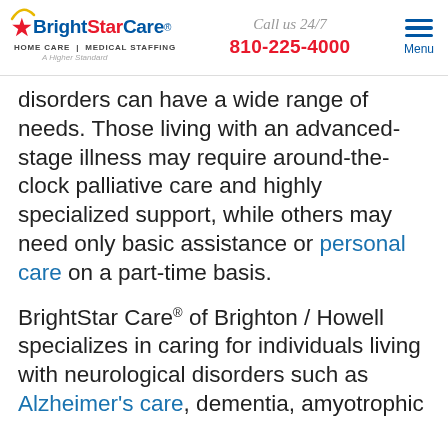BrightStar Care® HOME CARE | MEDICAL STAFFING A Higher Standard | Call us 24/7 810-225-4000 | Menu
disorders can have a wide range of needs. Those living with an advanced-stage illness may require around-the-clock palliative care and highly specialized support, while others may need only basic assistance or personal care on a part-time basis.
BrightStar Care® of Brighton / Howell specializes in caring for individuals living with neurological disorders such as Alzheimer's care, dementia, amyotrophic lateral sclerosis (ALS), and more.